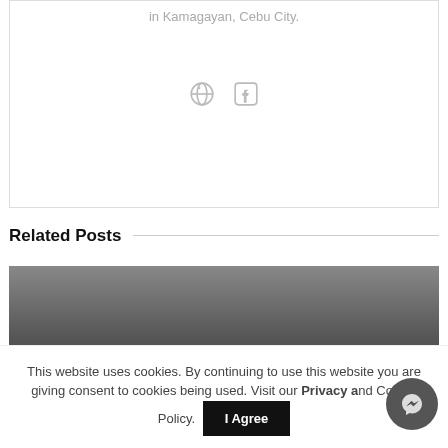in Kamagayan, Cebu City.
[Figure (other): Social share icons: globe/link icon and Facebook icon]
Related Posts
[Figure (photo): Article card with dark gradient background showing COVID-19 Chronicles category tag, headline 'DEATH TOLL NOW AT 24: NEGOCC DENGUE CASES CONTINUE TO RISE', byline by WATCHMEN DAILY JOURNAL, date August 31, 2022, views 20]
This website uses cookies. By continuing to use this website you are giving consent to cookies being used. Visit our Privacy and Cookie Policy.
[Figure (other): Messenger chat button (circular icon, dark grey)]